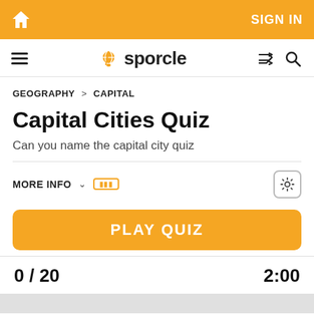SIGN IN
[Figure (screenshot): Sporcle website navigation bar with hamburger menu, Sporcle globe logo and wordmark, shuffle and search icons]
GEOGRAPHY > CAPITAL
Capital Cities Quiz
Can you name the capital city quiz
MORE INFO
PLAY QUIZ
0 / 20
2:00